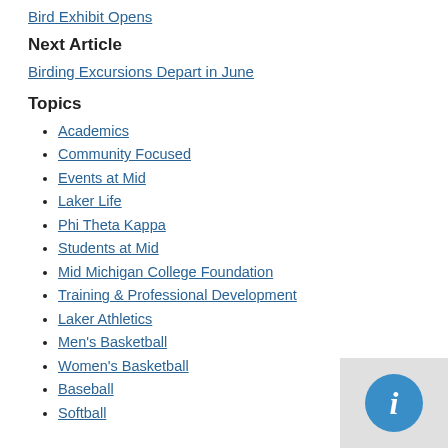Bird Exhibit Opens
Next Article
Birding Excursions Depart in June
Topics
Academics
Community Focused
Events at Mid
Laker Life
Phi Theta Kappa
Students at Mid
Mid Michigan College Foundation
Training & Professional Development
Laker Athletics
Men's Basketball
Women's Basketball
Baseball
Softball